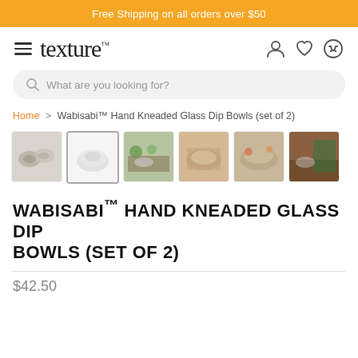Free Shipping on all orders over $50
texture™
What are you looking for?
Home > Wabisabi™ Hand Kneaded Glass Dip Bowls (set of 2)
[Figure (photo): Six product thumbnail images of Wabisabi Hand Kneaded Glass Dip Bowls in various settings; the second thumbnail is selected/active.]
WABISABI™ HAND KNEADED GLASS DIP BOWLS (SET OF 2)
$42.50